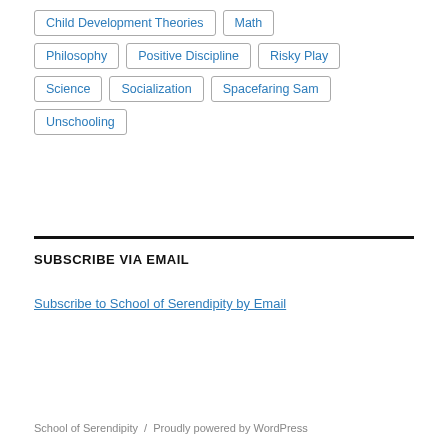Child Development Theories
Math
Philosophy
Positive Discipline
Risky Play
Science
Socialization
Spacefaring Sam
Unschooling
SUBSCRIBE VIA EMAIL
Subscribe to School of Serendipity by Email
School of Serendipity / Proudly powered by WordPress